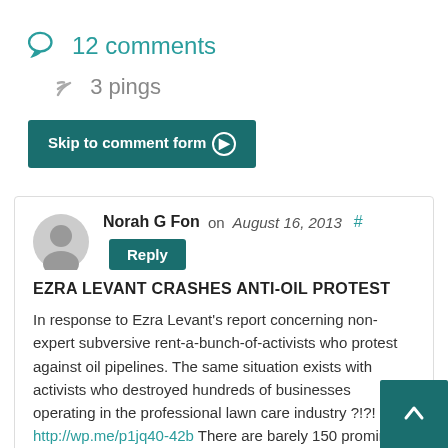12 comments
3 pings
Skip to comment form ❯
Norah G Fon on August 16, 2013 # Reply
EZRA LEVANT CRASHES ANTI-OIL PROTEST
In response to Ezra Levant's report concerning non-expert subversive rent-a-bunch-of-activists who protest against oil pipelines. The same situation exists with activists who destroyed hundreds of businesses operating in the professional lawn care industry ?!?! http://wp.me/p1jq40-42b There are barely 150 prominent culprits who have conspired to prohibit against the use of pest control products, hold the Canadian public as pesticide-hostages. Almost half,